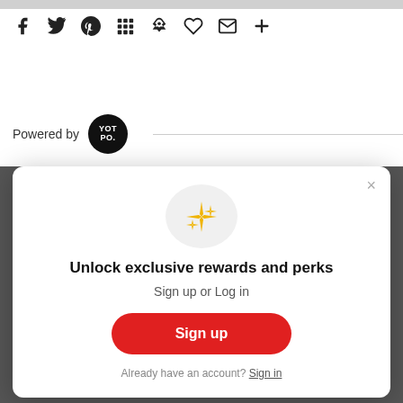[Figure (screenshot): Social media sharing icons: Facebook, Twitter, Pinterest, grid/apps, bookmark, heart, email, plus sign]
Powered by YOTPO
[Figure (infographic): Loyalty rewards modal popup with sparkle icon, title 'Unlock exclusive rewards and perks', subtitle 'Sign up or Log in', a red Sign up button, and 'Already have an account? Sign in' link]